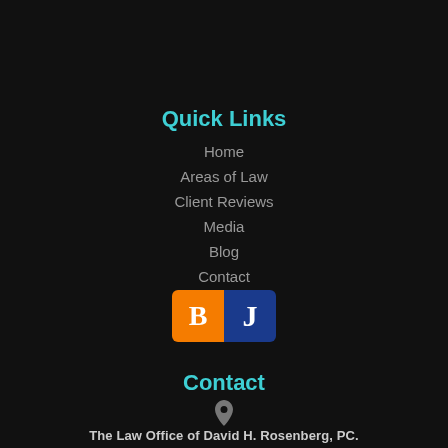Quick Links
Home
Areas of Law
Client Reviews
Media
Blog
Contact
[Figure (logo): Two social media icons side by side: orange square with bold white B (Blogger), and dark blue square with white J (Justia)]
Contact
[Figure (illustration): Location pin icon in grey]
The Law Office of David H. Rosenberg, PC.